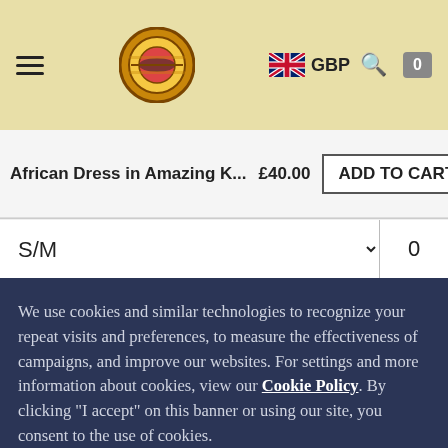[Figure (screenshot): Website navigation bar with hamburger menu, circular logo, UK flag with GBP currency label, search icon, and cart button showing 0]
family compound over the last couple of years.
African Dress in Amazing K...  £40.00  ADD TO CART
S/M  0
We use cookies and similar technologies to recognize your repeat visits and preferences, to measure the effectiveness of campaigns, and improve our websites. For settings and more information about cookies, view our Cookie Policy. By clicking "I accept" on this banner or using our site, you consent to the use of cookies.
I ACCEPT